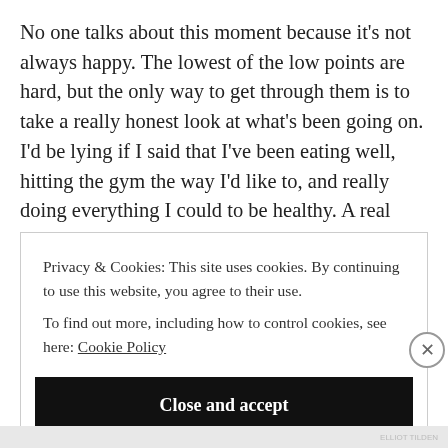No one talks about this moment because it's not always happy. The lowest of the low points are hard, but the only way to get through them is to take a really honest look at what's been going on. I'd be lying if I said that I've been eating well, hitting the gym the way I'd like to, and really doing everything I could to be healthy. A real look at what's been going on would be quite the opposite. So why have I fallen
Privacy & Cookies: This site uses cookies. By continuing to use this website, you agree to their use.
To find out more, including how to control cookies, see here: Cookie Policy
Close and accept